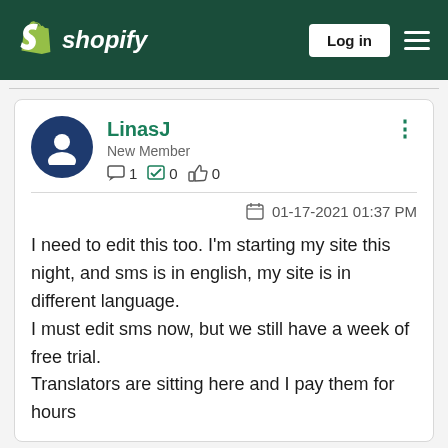Shopify — Log in
LinasJ
New Member
1  0  0
01-17-2021 01:37 PM
I need to edit this too. I'm starting my site this night, and sms is in english, my site is in different language.
I must edit sms now, but we still have a week of free trial.
Translators are sitting here and I pay them for hours